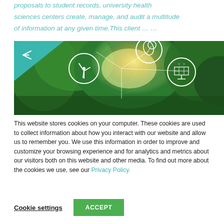proposals to student records, university health sciences centers create, manage, and audit a multitude of information at any given time.This client … …
[Figure (photo): Green nature background with glowing sunlight and circular icons for wind energy, leaf/plant, globe/earth, and solar panel connected by network lines. A teal triangle with a share/arrow icon appears in the top left corner.]
This website stores cookies on your computer. These cookies are used to collect information about how you interact with our website and allow us to remember you. We use this information in order to improve and customize your browsing experience and for analytics and metrics about our visitors both on this website and other media. To find out more about the cookies we use, see our Privacy Policy.
Cookie settings
ACCEPT